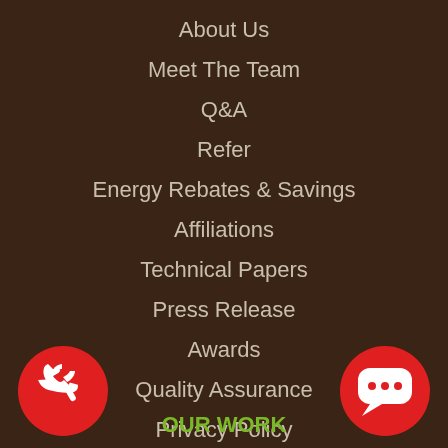About Us
Meet The Team
Q&A
Refer
Energy Rebates & Savings
Affiliations
Technical Papers
Press Release
Awards
Quality Assurance
Privacy Policy
Sitemap
[Figure (illustration): Red circular phone call button icon on bottom left]
[Figure (illustration): Red circular chat/message button icon on bottom right]
OUR WORK